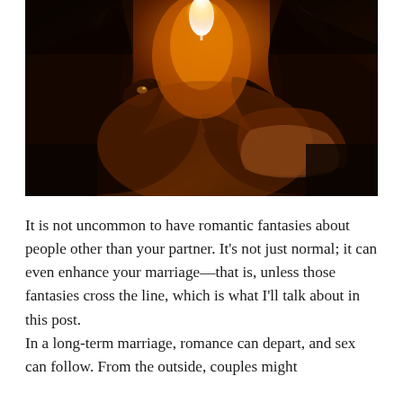[Figure (photo): Silhouette of two people kissing against a bright orange-yellow sunset/backlight, with a dramatic flare of light between their faces. Dark romantic atmosphere with warm amber tones.]
It is not uncommon to have romantic fantasies about people other than your partner. It's not just normal; it can even enhance your marriage—that is, unless those fantasies cross the line, which is what I'll talk about in this post.
In a long-term marriage, romance can depart, and sex can follow. From the outside, couples might